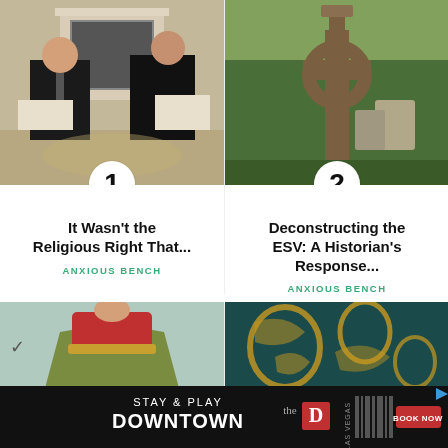[Figure (photo): Two men in dark suits sitting and talking in front of a fireplace, appears to be White House setting]
[Figure (photo): A stone Celtic cross in a cemetery surrounded by green foliage]
It Wasn't the Religious Right That...
ANXIOUS BENCH
Deconstructing the ESV: A Historian's Response...
ANXIOUS BENCH
[Figure (photo): Woman in vintage red and green dress with gold belt]
[Figure (photo): Dark teal fabric with golden decorative pattern]
[Figure (other): Advertisement banner: STAY & PLAY DOWNTOWN with The D Las Vegas logo and BOOK NOW button]